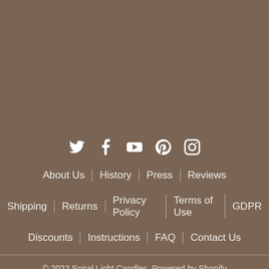[Figure (other): Social media icons: Twitter, Facebook, YouTube, Pinterest, Instagram]
About Us | History | Press | Reviews
Shipping | Returns | Privacy Policy | Terms of Use | GDPR
Discounts | Instructions | FAQ | Contact Us
© 2022 Spiral Light Candles. Powered by Shopify